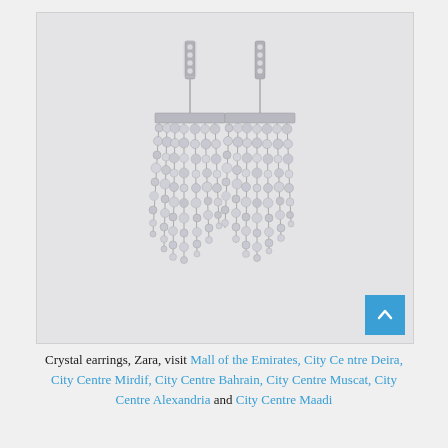[Figure (photo): Product photo of a pair of crystal chandelier earrings by Zara on a light grey background. The earrings are silver-toned with cascading crystal bead fringe strands hanging from rectangular crystal-encrusted posts.]
Crystal earrings, Zara, visit Mall of the Emirates, City Centre Deira, City Centre Mirdif, City Centre Bahrain, City Centre Muscat, City Centre Alexandria and City Centre Maadi